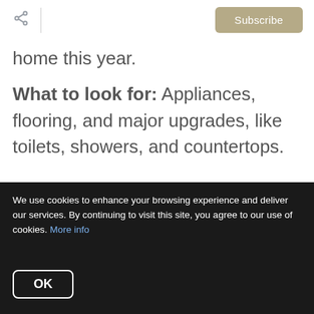Subscribe
home this year.
What to look for: Appliances, flooring, and major upgrades, like toilets, showers, and countertops.
#2 Best Buy
We use cookies to enhance your browsing experience and deliver our services. By continuing to visit this site, you agree to our use of cookies. More info
OK